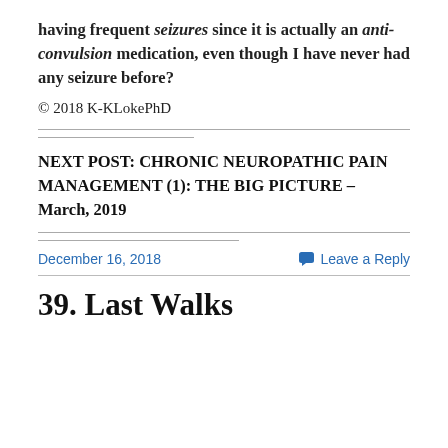having frequent seizures since it is actually an anti-convulsion medication, even though I have never had any seizure before?
© 2018 K-KLokePhD
NEXT POST: CHRONIC NEUROPATHIC PAIN MANAGEMENT (1): THE BIG PICTURE – March, 2019
December 16, 2018
Leave a Reply
39. Last Walks